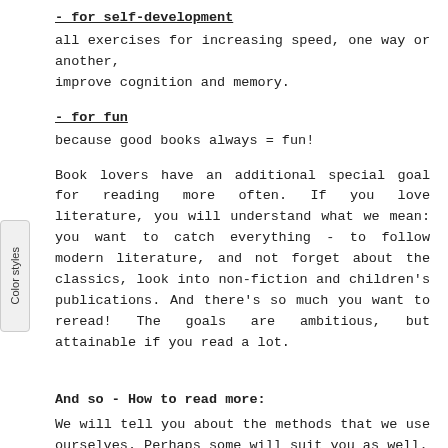- for self-development
all exercises for increasing speed, one way or another, improve cognition and memory.
- for fun
because good books always = fun!
Book lovers have an additional special goal for reading more often. If you love literature, you will understand what we mean: you want to catch everything - to follow modern literature, and not forget about the classics, look into non-fiction and children's publications. And there's so much you want to reread! The goals are ambitious, but attainable if you read a lot.
And so - How to read more:
We will tell you about the methods that we use ourselves. Perhaps some will suit you as well.
15 minutes a day